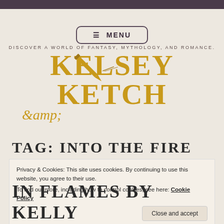[Figure (logo): Kelsey Ketch author logo with tagline 'Discover a world of fantasy, mythology, and romance.' in gold serif font with decorative pen illustration]
TAG: INTO THE FIRE
Privacy & Cookies: This site uses cookies. By continuing to use this website, you agree to their use.
To find out more, including how to control cookies, see here: Cookie Policy
Close and accept
IN FLAMES BY KELLY